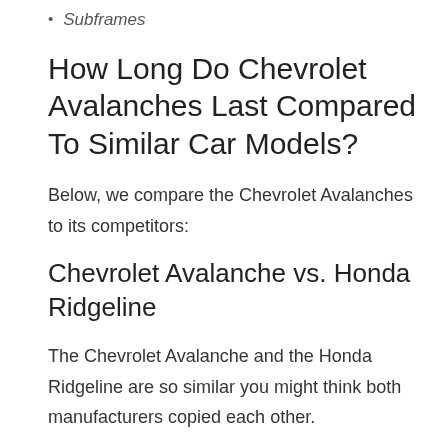Subframes
How Long Do Chevrolet Avalanches Last Compared To Similar Car Models?
Below, we compare the Chevrolet Avalanches to its competitors:
Chevrolet Avalanche vs. Honda Ridgeline
The Chevrolet Avalanche and the Honda Ridgeline are so similar you might think both manufacturers copied each other.